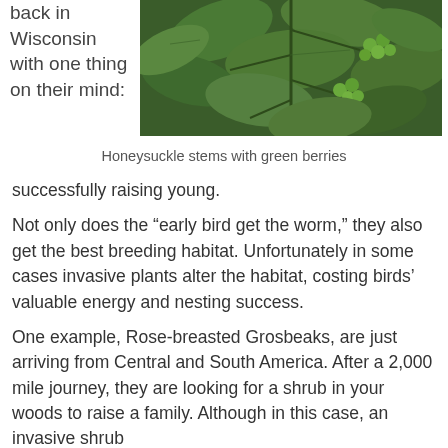back in Wisconsin with one thing on their mind:
[Figure (photo): Close-up photo of honeysuckle stems with green berries and leaves]
Honeysuckle stems with green berries
successfully raising young.
Not only does the “early bird get the worm,” they also get the best breeding habitat. Unfortunately in some cases invasive plants alter the habitat, costing birds’ valuable energy and nesting success.
One example, Rose-breasted Grosbeaks, are just arriving from Central and South America. After a 2,000 mile journey, they are looking for a shrub in your woods to raise a family. Although in this case, an invasive shrub